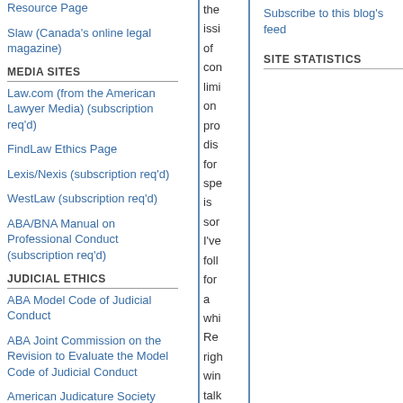Resource Page
Slaw (Canada's online legal magazine)
MEDIA SITES
Law.com (from the American Lawyer Media) (subscription req'd)
FindLaw Ethics Page
Lexis/Nexis (subscription req'd)
WestLaw (subscription req'd)
ABA/BNA Manual on Professional Conduct (subscription req'd)
JUDICIAL ETHICS
ABA Model Code of Judicial Conduct
ABA Joint Commission on the Revision to Evaluate the Model Code of Judicial Conduct
American Judicature Society Center for Judicial Ethics
State Materials on Judicial Ethics (ABA-CPR sponsored site)
the issi of con limi on pro dis for spe is sor I've foll for a whi Re righ win talk hea An
Subscribe to this blog's feed
SITE STATISTICS